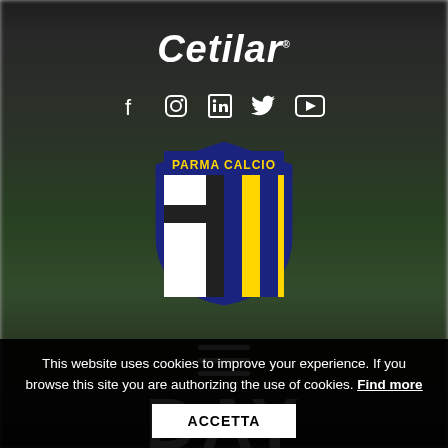Cetilar
[Figure (infographic): Social media icons: Facebook, Instagram, LinkedIn, Twitter, YouTube]
[Figure (logo): Parma Calcio football club shield badge with blue border, black cross on white left half, yellow and blue vertical stripes on right half, text PARMA CALCIO at top]
[Figure (infographic): Hamburger menu icon with three horizontal white lines]
DAY
July 9, 2020
This website uses cookies to improve your experience. If you browse this site you are authorizing the use of cookies. Find more
ACCETTA